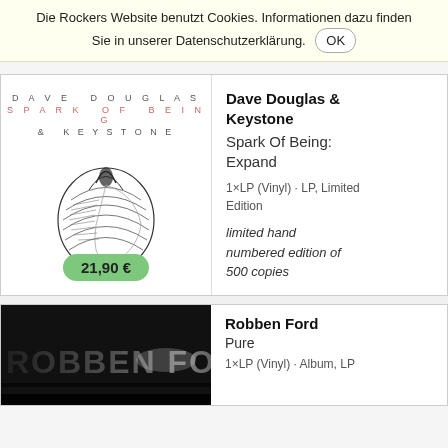Die Rockers Website benutzt Cookies. Informationen dazu finden Sie in unserer Datenschutzerklärung. OK
[Figure (photo): Album cover for Dave Douglas & Keystone - Spark Of Being: Expand. White background with hand-drawn shell/heart illustration and spaced lettering text. Price badge showing 21,90 €.]
Dave Douglas & Keystone
Spark Of Being: Expand
1×LP (Vinyl) · LP, Limited Edition
limited hand numbered edition of 500 copies
[Figure (photo): Dark album cover with stylized text ROBBEN FORD in large grey letters on black background.]
Robben Ford
Pure
1×LP (Vinyl) · Album, LP